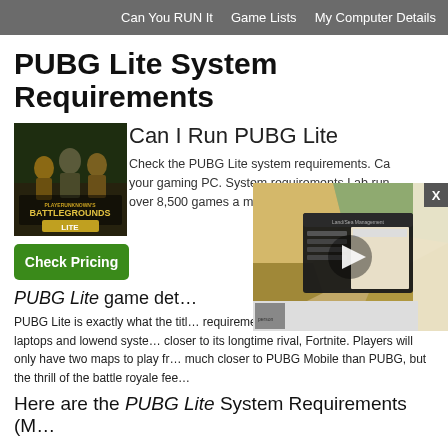Can You RUN It   Game Lists   My Computer Details
PUBG Lite System Requirements
[Figure (screenshot): PUBG Lite / Battlegrounds Lite game cover art showing soldiers]
Can I Run PUBG Lite
Check the PUBG Lite system requirements. Ca... your gaming PC. System requirements Lab run... over 8,500 games a month.
Check Pricing
[Figure (screenshot): Video overlay showing a strategy game map with a play button]
PUBG Lite game deta...
PUBG Lite is exactly what the titl... requirements are significantly low... run on laptops and lowend syste... closer to its longtime rival, Fortnite. Players will only have two maps to play fr... much closer to PUBG Mobile than PUBG, but the thrill of the battle royale fee...
Here are the PUBG Lite System Requirements (M...